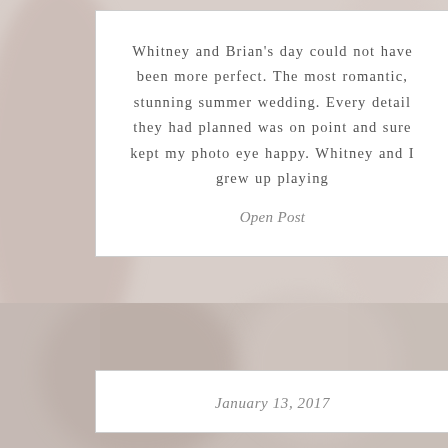[Figure (photo): Background wedding photo — soft blurred image showing a bride in white lace dress, warm muted tones of beige, cream, and blush]
Whitney and Brian's day could not have been more perfect. The most romantic, stunning summer wedding. Every detail they had planned was on point and sure kept my photo eye happy. Whitney and I grew up playing
Open Post
[Figure (photo): Background wedding photo strip — blurred image of arms raised, soft warm tones]
January 13, 2017